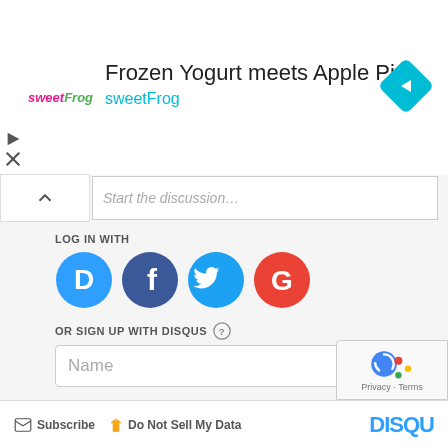[Figure (screenshot): Ad banner for sweetFrog: logo on left, title 'Frozen Yogurt meets Apple Pie', subtitle 'sweetFrog', blue diamond navigation icon on right]
Start the discussion...
LOG IN WITH
[Figure (screenshot): Four social login icons: Disqus (blue speech bubble with D), Facebook (dark blue circle with f), Twitter (light blue circle with bird), Google (red circle with G)]
OR SIGN UP WITH DISQUS ?
Name
Be the first to comment.
Subscribe  Do Not Sell My Data  DISQUS
[Figure (screenshot): reCAPTCHA badge with Google logo, Privacy and Terms links]